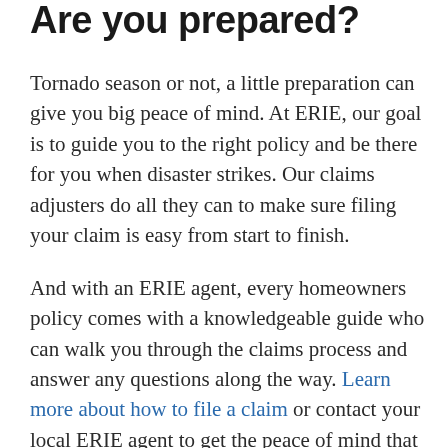Are you prepared?
Tornado season or not, a little preparation can give you big peace of mind. At ERIE, our goal is to guide you to the right policy and be there for you when disaster strikes. Our claims adjusters do all they can to make sure filing your claim is easy from start to finish.
And with an ERIE agent, every homeowners policy comes with a knowledgeable guide who can walk you through the claims process and answer any questions along the way. Learn more about how to file a claim or contact your local ERIE agent to get the peace of mind that you deserve.